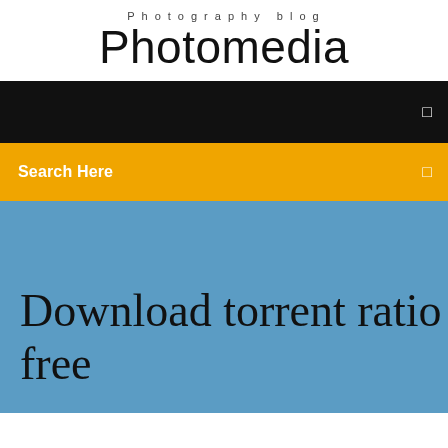Photography blog
Photomedia
☰
Search Here
☰
Download torrent ratio free